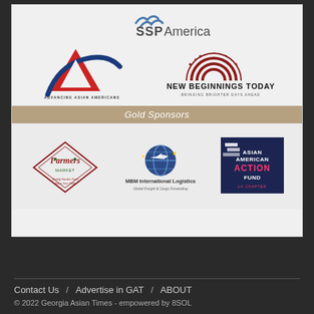[Figure (logo): SSP America - The Food Travel Experts logo]
[Figure (logo): Advancing Asian Americans logo with red and blue chevron/arrow design]
[Figure (logo): New Beginnings Today - Bringing Brighter Days Ahead logo with rising sun graphic]
Gold Sponsors
[Figure (logo): Farmers Market logo - Quality Garden Food Since Your Daily]
[Figure (logo): MBM International Logistics - Global Freight & Cargo Forwarding logo]
[Figure (logo): Asian American Action Fund LA Chapter logo on dark navy background]
Contact Us / Advertise in GAT / ABOUT
© 2022 Georgia Asian Times - empowered by 8SOL